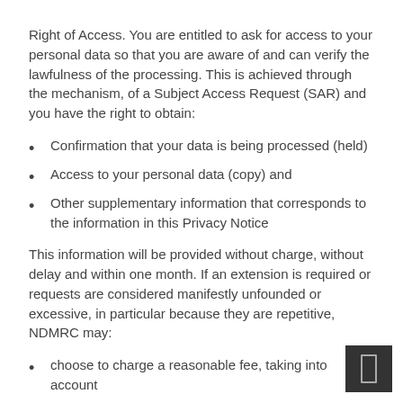Right of Access. You are entitled to ask for access to your personal data so that you are aware of and can verify the lawfulness of the processing. This is achieved through the mechanism, of a Subject Access Request (SAR) and you have the right to obtain:
Confirmation that your data is being processed (held)
Access to your personal data (copy) and
Other supplementary information that corresponds to the information in this Privacy Notice
This information will be provided without charge, without delay and within one month. If an extension is required or requests are considered manifestly unfounded or excessive, in particular because they are repetitive, NDMRC may:
choose to charge a reasonable fee, taking into account